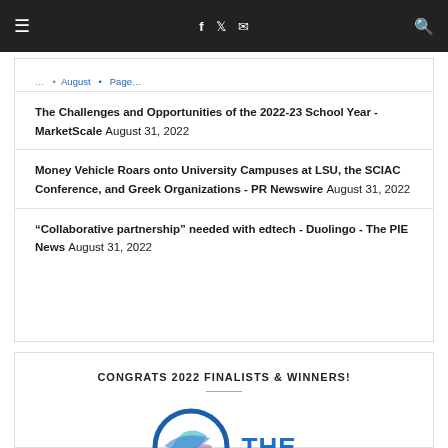≡  f  🐦  ✉  🔍
The Challenges and Opportunities of the 2022-23 School Year - MarketScale August 31, 2022
Money Vehicle Roars onto University Campuses at LSU, the SCIAC Conference, and Greek Organizations - PR Newswire August 31, 2022
“Collaborative partnership” needed with edtech - Duolingo - The PIE News August 31, 2022
CONGRATS 2022 FINALISTS & WINNERS!
[Figure (logo): Circular globe logo with blue, teal, and purple swoosh elements alongside 'THE' text in blue, partial view at bottom of page]